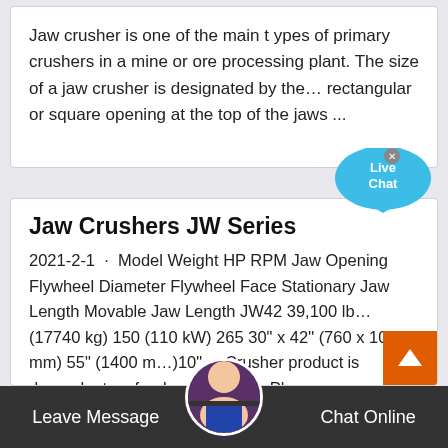Jaw crusher is one of the main t ypes of primary crushers in a mine or ore processing plant. The size of a jaw crusher is designated by the… rectangular or square opening at the top of the jaws ...
[Figure (other): Live Chat bubble widget — blue circular chat button with 'Live Chat' text and a close X button]
Jaw Crushers JW Series
2021-2-1 · Model Weight HP RPM Jaw Opening Flywheel Diameter Flywheel Face Stationary Jaw Length Movable Jaw Length JW42 39,100 lb… (17740 kg) 150 (110 kW) 265 30" x 42" (760 x 1070 mm) 55" (1400 m…) 10" ... Crusher product is dependant on fee… properties. Please
[Figure (other): Orange scroll-to-top arrow button at bottom right]
[Figure (other): Dark bottom bar with 'Leave Message' on left, customer support avatar in center, 'Chat Online' on right]